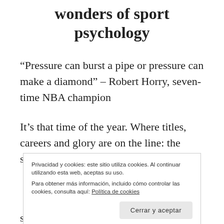wonders of sport psychology
“Pressure can burst a pipe or pressure can make a diamond” – Robert Horry, seven-time NBA champion
It’s that time of the year. Where titles, careers and glory are on the line: the stakes could not be
Privacidad y cookies: este sitio utiliza cookies. Al continuar utilizando esta web, aceptas su uso.
Para obtener más información, incluido cómo controlar las cookies, consulta aquí: Política de cookies
season and undo all the hard work that they have